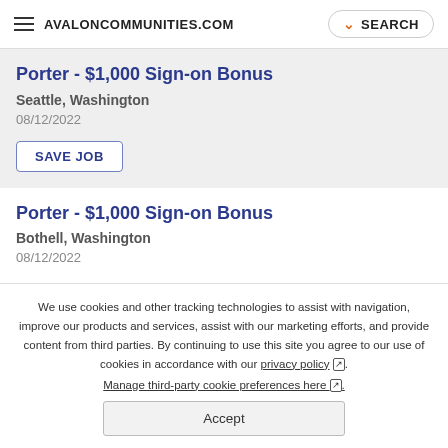AVALONCOMMUNITIES.COM | SEARCH
Porter - $1,000 Sign-on Bonus
Seattle, Washington
08/12/2022
SAVE JOB
Porter - $1,000 Sign-on Bonus
Bothell, Washington
We use cookies and other tracking technologies to assist with navigation, improve our products and services, assist with our marketing efforts, and provide content from third parties. By continuing to use this site you agree to our use of cookies in accordance with our privacy policy. Manage third-party cookie preferences here.
Accept